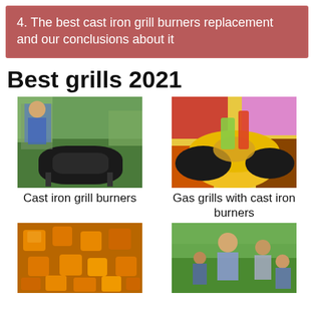4. The best cast iron grill burners replacement and our conclusions about it
Best grills 2021
[Figure (photo): Man using a kettle grill outdoors with greenery in the background]
Cast iron grill burners
[Figure (photo): Colorful food dishes in cast iron pans with sauces and vegetables]
Gas grills with cast iron burners
[Figure (photo): Orange roasted vegetable cubes on a grill surface]
[Figure (photo): Group of people outdoors in a garden setting]